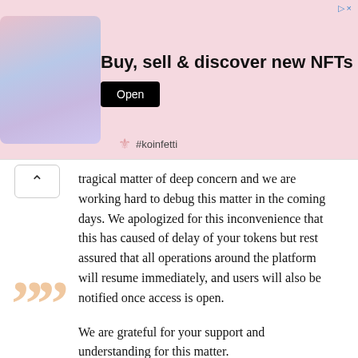[Figure (screenshot): Advertisement banner for koinfetti NFT app showing phone mockups and 'Buy, sell & discover new NFTs' text with Open button]
tragical matter of deep concern and we are working hard to debug this matter in the coming days. We apologized for this inconvenience that this has caused of delay of your tokens but rest assured that all operations around the platform will resume immediately, and users will also be notified once access is open.

We are grateful for your support and understanding for this matter.

Sincerely,  The TechCoin Team .